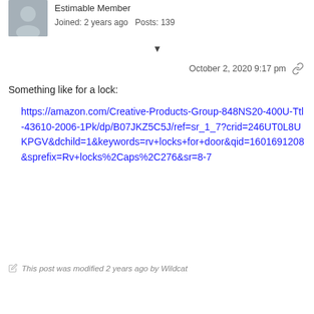[Figure (photo): Small circular avatar image of a user, grayish tones]
Estimable Member
Joined: 2 years ago  Posts: 139
▼
October 2, 2020 9:17 pm  🔗
Something like for a lock:
https://amazon.com/Creative-Products-Group-848NS20-400U-Ttl-43610-2006-1Pk/dp/B07JKZ5C5J/ref=sr_1_7?crid=246UT0L8UKPGV&dchild=1&keywords=rv+locks+for+door&qid=1601691208&sprefix=Rv+locks%2Caps%2C276&sr=8-7
This post was modified 2 years ago by Wildcat